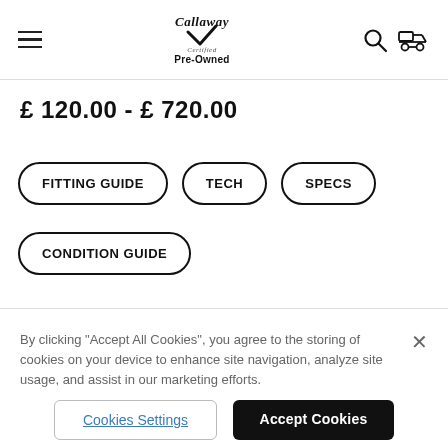[Figure (logo): Callaway Certified Pre-Owned logo with checkmark]
£ 120.00 - £ 720.00
FITTING GUIDE
TECH
SPECS
CONDITION GUIDE
By clicking “Accept All Cookies”, you agree to the storing of cookies on your device to enhance site navigation, analyze site usage, and assist in our marketing efforts.
Cookies Settings
Accept Cookies